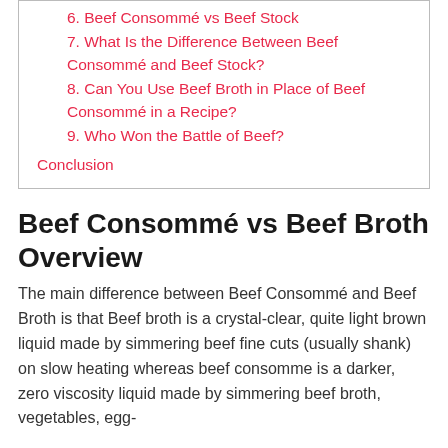6. Beef Consommé vs Beef Stock
7. What Is the Difference Between Beef Consommé and Beef Stock?
8. Can You Use Beef Broth in Place of Beef Consommé in a Recipe?
9. Who Won the Battle of Beef?
Conclusion
Beef Consommé vs Beef Broth Overview
The main difference between Beef Consommé and Beef Broth is that Beef broth is a crystal-clear, quite light brown liquid made by simmering beef fine cuts (usually shank) on slow heating whereas beef consomme is a darker, zero viscosity liquid made by simmering beef broth, vegetables, egg-